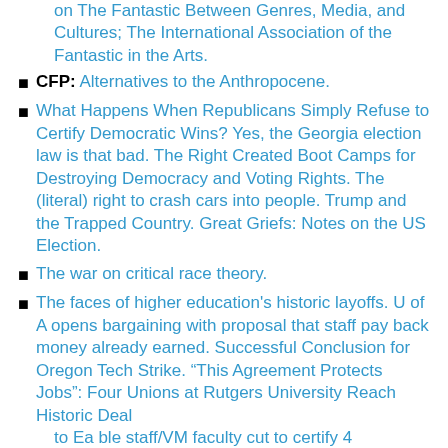on The Fantastic Between Genres, Media, and Cultures; The International Association of the Fantastic in the Arts.
CFP: Alternatives to the Anthropocene.
What Happens When Republicans Simply Refuse to Certify Democratic Wins? Yes, the Georgia election law is that bad. The Right Created Boot Camps for Destroying Democracy and Voting Rights. The (literal) right to crash cars into people. Trump and the Trapped Country. Great Griefs: Notes on the US Election.
The war on critical race theory.
The faces of higher education's historic layoffs. U of A opens bargaining with proposal that staff pay back money already earned. Successful Conclusion for Oregon Tech Strike. “This Agreement Protects Jobs”: Four Unions at Rutgers University Reach Historic Deal to Enable staff/VM faculty cut to certify 4…